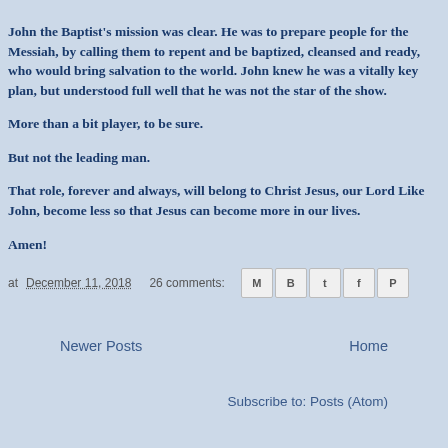John the Baptist's mission was clear. He was to prepare people for the Messiah, by calling them to repent and be baptized, cleansed and r... who would bring salvation to the world. John knew he was a vitally... plan, but understood full well that he was not the star of the show.
More than a bit player, to be sure.
But not the leading man.
That role, forever and always, will belong to Christ Jesus, our Lord... John, become less so that Jesus can become more in our lives.
Amen!
at December 11, 2018  26 comments:
Newer Posts   Home
Subscribe to: Posts (Atom)